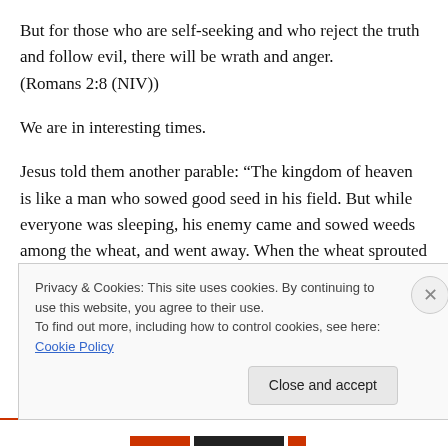But for those who are self-seeking and who reject the truth and follow evil, there will be wrath and anger. (Romans 2:8 (NIV))
We are in interesting times.
Jesus told them another parable: “The kingdom of heaven is like a man who sowed good seed in his field. But while everyone was sleeping, his enemy came and sowed weeds among the wheat, and went away. When the wheat sprouted and formed heads, then the weeds also
Privacy & Cookies: This site uses cookies. By continuing to use this website, you agree to their use.
To find out more, including how to control cookies, see here: Cookie Policy
Close and accept